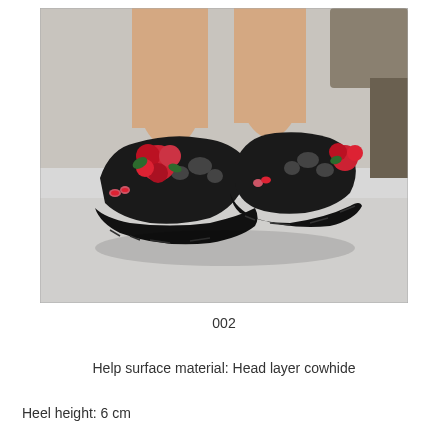[Figure (photo): A woman's feet wearing black platform wedge sandals with red floral decorations and peep-toe cut-outs, standing on a light gray surface. The sandals have thick rubber soles with tread pattern.]
002
Help surface material: Head layer cowhide
Heel height: 6 cm